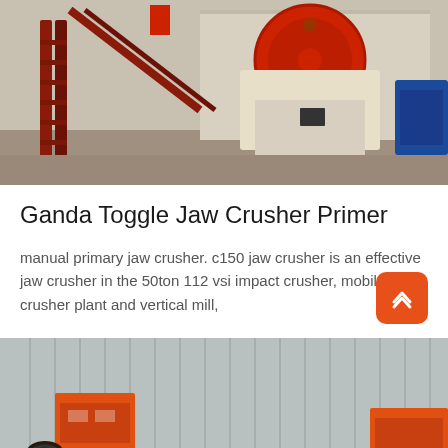[Figure (photo): Industrial jaw crusher machine with red metal frame and large red flywheel, mounted outdoors. A staircase and conveyor structure visible on the left, blue motor on the right.]
Ganda Toggle Jaw Crusher Primer
manual primary jaw crusher. c150 jaw crusher is an effective jaw crusher in the 50ton 112 vsi impact crusher, mobile crusher plant and vertical mill,
[Figure (photo): Industrial building with corrugated metal walls and orange heavy machinery/equipment visible in foreground and right side. A customer service agent is depicted in the bottom-left corner.]
Message
Online Chat